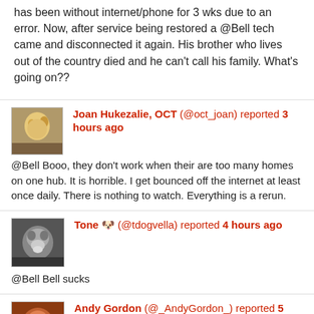has been without internet/phone for 3 wks due to an error. Now, after service being restored a @Bell tech came and disconnected it again. His brother who lives out of the country died and he can't call his family. What's going on??
Joan Hukezalie, OCT (@oct_joan) reported 3 hours ago
@Bell Booo, they don't work when their are too many homes on one hub. It is horrible. I get bounced off the internet at least once daily. There is nothing to watch. Everything is a rerun.
Tone 🐶 (@tdogvella) reported 4 hours ago
@Bell Bell sucks
Andy Gordon (@_AndyGordon_) reported 5 hours